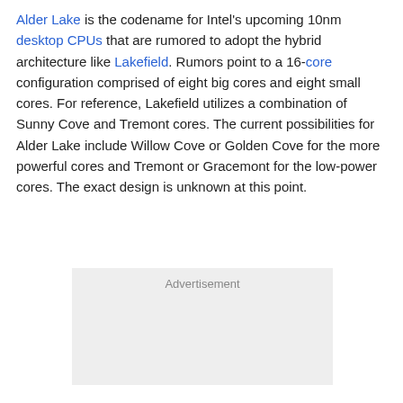Alder Lake is the codename for Intel's upcoming 10nm desktop CPUs that are rumored to adopt the hybrid architecture like Lakefield. Rumors point to a 16-core configuration comprised of eight big cores and eight small cores. For reference, Lakefield utilizes a combination of Sunny Cove and Tremont cores. The current possibilities for Alder Lake include Willow Cove or Golden Cove for the more powerful cores and Tremont or Gracemont for the low-power cores. The exact design is unknown at this point.
[Figure (other): Advertisement placeholder box with light grey background]